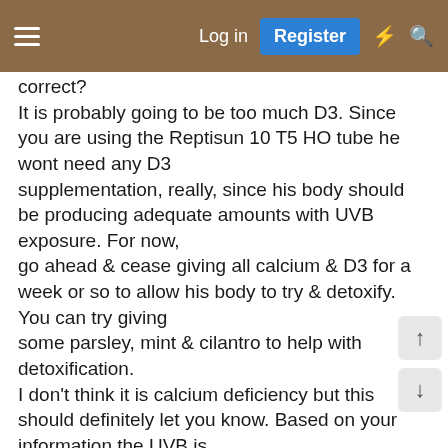Log in | Register
correct?
It is probably going to be too much D3. Since you are using the Reptisun 10 T5 HO tube he wont need any D3
supplementation, really, since his body should be producing adequate amounts with UVB exposure. For now,
go ahead & cease giving all calcium & D3 for a week or so to allow his body to try & detoxify. You can try giving
some parsley, mint & cilantro to help with detoxification.
I don't think it is calcium deficiency but this should definitely let you know. Based on your information the UVB is
a HO & he should have been getting ample UVB